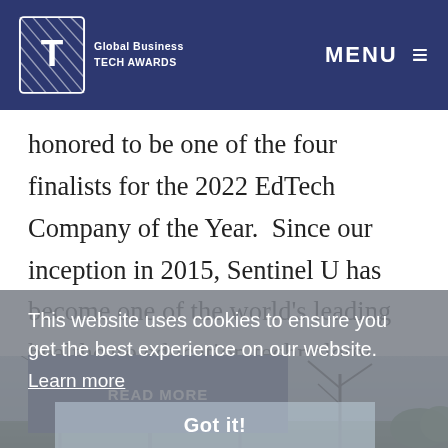Global Business TECH AWARDS | MENU
honored to be one of the four finalists for the 2022 EdTech Company of the Year.  Since our inception in 2015, Sentinel U has become one of the world's leading healthcare education technology companies. By...
This website uses cookies to ensure you get the best experience on our website. Learn more
Got it!
[Figure (photo): Photo of bare trees against a sky, partially obscured by cookie consent overlay]